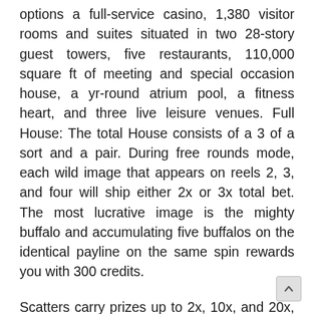options a full-service casino, 1,380 visitor rooms and suites situated in two 28-story guest towers, five restaurants, 110,000 square ft of meeting and special occasion house, a yr-round atrium pool, a fitness heart, and three live leisure venues. Full House: The total House consists of a 3 of a sort and a pair. During free rounds mode, each wild image that appears on reels 2, 3, and four will ship either 2x or 3x total bet. The most lucrative image is the mighty buffalo and accumulating five buffalos on the identical payline on the same spin rewards you with 300 credits.
Scatters carry prizes up to 2x, 10x, and 20x, your stake for accumulating three, 4, and five symbols on the same spin. 4-of-a-form and three-of-a-sort